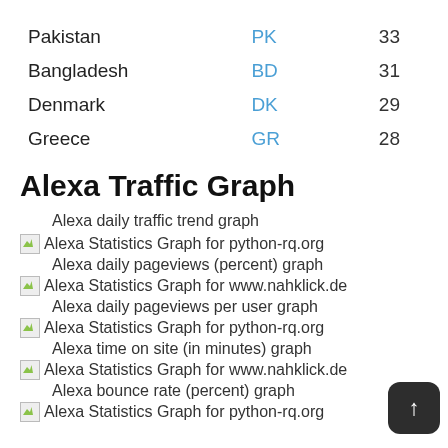| Country | Code | Value |
| --- | --- | --- |
| Pakistan | PK | 33 |
| Bangladesh | BD | 31 |
| Denmark | DK | 29 |
| Greece | GR | 28 |
Alexa Traffic Graph
Alexa daily traffic trend graph
Alexa Statistics Graph for python-rq.org
Alexa daily pageviews (percent) graph
Alexa Statistics Graph for www.nahklick.de
Alexa daily pageviews per user graph
Alexa Statistics Graph for python-rq.org
Alexa time on site (in minutes) graph
Alexa Statistics Graph for www.nahklick.de
Alexa bounce rate (percent) graph
Alexa Statistics Graph for python-rq.org